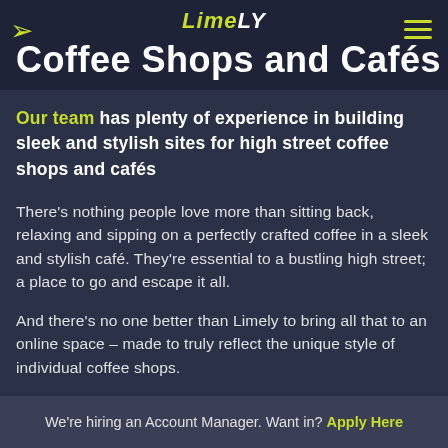LimeLY — Coffee Shops and Cafés
Coffee Shops and Cafés
Our team has plenty of experience in building sleek and stylish sites for high street coffee shops and cafés
There's nothing people love more than sitting back, relaxing and sipping on a perfectly crafted coffee in a sleek and stylish café. They're essential to a bustling high street; a place to go and escape it all.
And there's no one better than Limely to bring all that to an online space – made to truly reflect the unique style of individual coffee shops.
It's a great way to widen your customer base, as well as k…
We're hiring an Account Manager. Want in? Apply Here